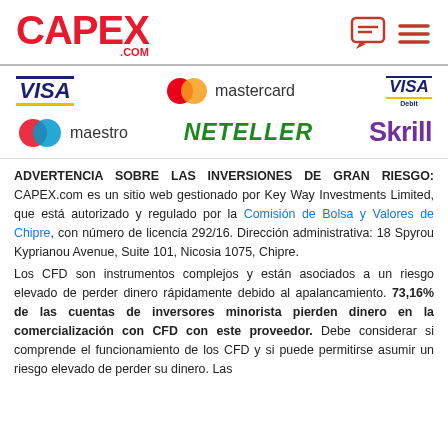[Figure (logo): CAPEX.COM logo in red with .COM in smaller text]
[Figure (logo): Chat and menu icons in top right header]
[Figure (logo): Payment method logos: VISA, Mastercard, VISA Debit, Maestro, NETELLER, Skrill]
ADVERTENCIA SOBRE LAS INVERSIONES DE GRAN RIESGO: CAPEX.com es un sitio web gestionado por Key Way Investments Limited, que está autorizado y regulado por la Comisión de Bolsa y Valores de Chipre, con número de licencia 292/16. Dirección administrativa: 18 Spyrou Kyprianou Avenue, Suite 101, Nicosia 1075, Chipre.
Los CFD son instrumentos complejos y están asociados a un riesgo elevado de perder dinero rápidamente debido al apalancamiento. 73,16% de las cuentas de inversores minorista pierden dinero en la comercialización con CFD con este proveedor. Debe considerar si comprende el funcionamiento de los CFD y si puede permitirse asumir un riesgo elevado de perder su dinero. Las